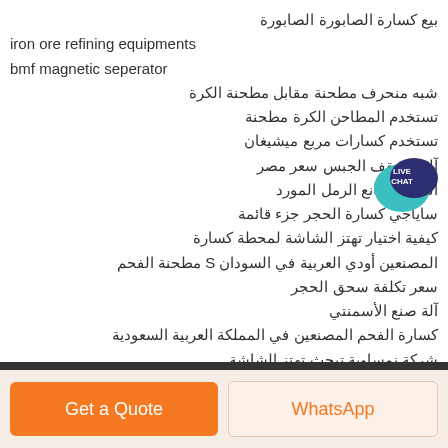بيع كسارة الصابورة الصابورة
iron ore refining equipments
bmf magnetic seperator
شبه منحرف مطحنة مقابل مطحنة الكرة
تستخدم المطاحن الكرة مطحنة
تستخدم كسارات مربع ميشيغان
آلات سقف الجبس سعر مصر
الجزائر صانع الرمل المورد
ساياجي كسارة الحجر جزء قائمة
كيفية اختيار تهتز الشاشة لمحطة كسارة
المصنعين أودي العربية في السودان S مطحنة الفحم
سعر تكلفة سحق الحجر
آلة صنع الأسمنتي
كسارة الفحم المصنعين في المملكة العربية السعودية
شركة نمساوية تبحث تهتز الشاشة
منشآت كسارة التلفيف
[Figure (illustration): Live Chat button - teal speech bubble with dark blue speech bubble overlay, text LIVE CHAT in white]
Get a Quote
WhatsApp